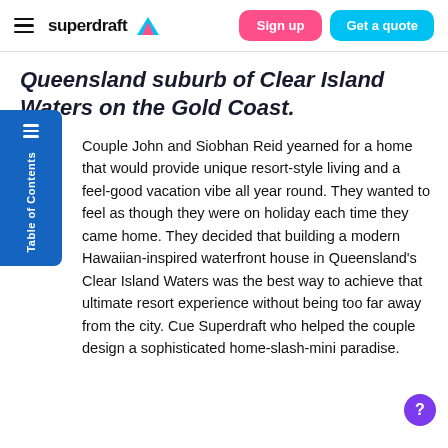superdraft — Sign up | Get a quote
Queensland suburb of Clear Island Waters on the Gold Coast.
Couple John and Siobhan Reid yearned for a home that would provide unique resort-style living and a feel-good vacation vibe all year round. They wanted to feel as though they were on holiday each time they came home. They decided that building a modern Hawaiian-inspired waterfront house in Queensland's Clear Island Waters was the best way to achieve that ultimate resort experience without being too far away from the city. Cue Superdraft who helped the couple design a sophisticated home-slash-mini paradise.